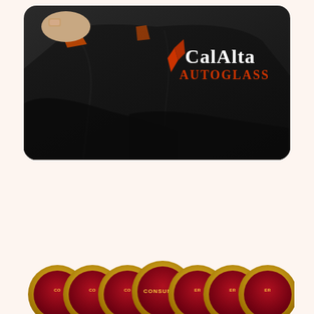[Figure (photo): A person wearing a black CalAlta Autoglass uniform/jacket with the CalAlta Autoglass logo visible in white and red text. The person appears to be working inside a vehicle. The photo has a rounded rectangle crop.]
[Figure (photo): A row of overlapping circular gold and dark red Consumer awards/medallions partially visible at the bottom of the page. The word CONSUMER is visible on the central medallion.]